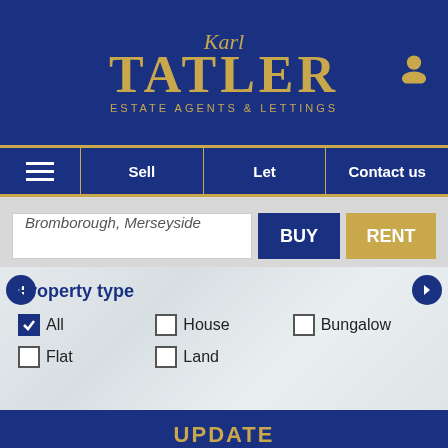[Figure (logo): Karl Tatler Estate Agents & Lettings logo on dark blue background]
Sell | Let | Contact us
Bromborough, Merseyside
BUY | RENT
Property type
All (checked), House, Bungalow
Flat, Land
UPDATE
0 Wishlist | Saved Search | Book a valuation